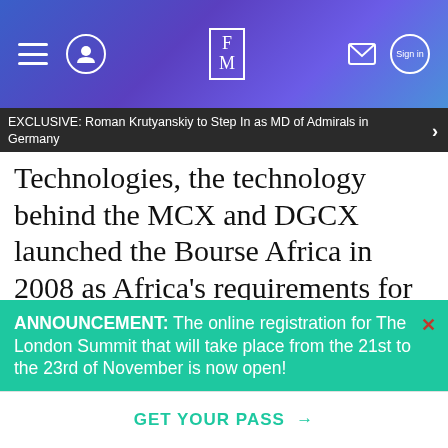FM (Finance Magnates) navigation header with hamburger menu, avatar, FM logo, mail icon, and sign in button
EXCLUSIVE: Roman Krutyanskiy to Step In as MD of Admirals in Germany
Technologies, the technology behind the MCX and DGCX launched the Bourse Africa in 2008 as Africa's requirements for complex financial instruments grow amid global trade and rising commodity prices. Zambia has consistently been achieving economic growth exceeding 5%.
ANNOUNCEMENT: The online registration for The London Summit that will take place from the 21st to the 23rd of November is now open!
GET YOUR PASS →